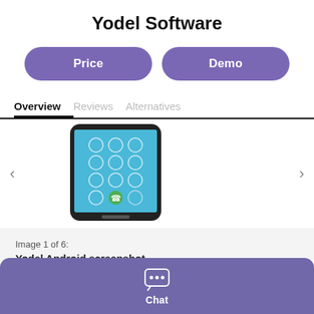Yodel Software
Price
Demo
Overview
Reviews
Alternatives
[Figure (screenshot): Yodel Android app screenshot showing a phone with a dial pad on a blue background]
Image 1 of 6:
Yodel Android screenshot
Chat